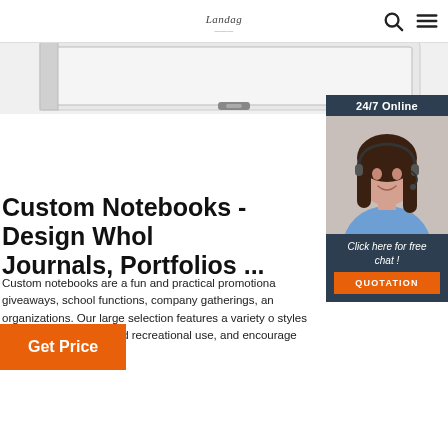Landag | Custom Notebooks - Design Wholesale Journals, Portfolios ...
[Figure (photo): Screenshot of a website header showing a logo 'Landag', search icon, and hamburger menu icon, with a partial view of a custom notebook/portfolio product image below.]
[Figure (photo): Chat widget showing '24/7 Online' banner, photo of a smiling woman with a headset, 'Click here for free chat!' text, and an orange QUOTATION button.]
Custom Notebooks - Design Whol Journals, Portfolios ...
Custom notebooks are a fun and practical promotiona giveaways, school functions, company gatherings, an organizations. Our large selection features a variety o styles for both professional and recreational use, and encourage organization and ...
Get Price